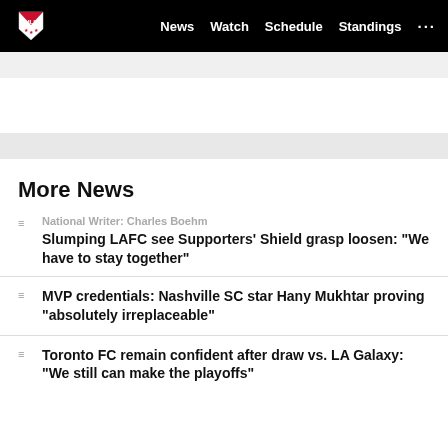MLS | News  Watch  Schedule  Standings  ...
More News
National Writer: Charles Boehm
Slumping LAFC see Supporters' Shield grasp loosen: "We have to stay together"
MVP credentials: Nashville SC star Hany Mukhtar proving “absolutely irreplaceable”
Toronto FC remain confident after draw vs. LA Galaxy: “We still can make the playoffs”